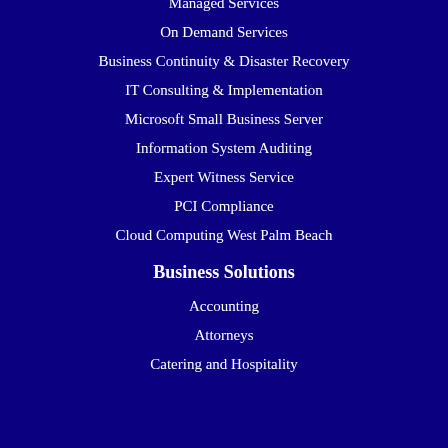Managed Services
On Demand Services
Business Continuity & Disaster Recovery
IT Consulting & Implementation
Microsoft Small Business Server
Information System Auditing
Expert Witness Service
PCI Compliance
Cloud Computing West Palm Beach
Business Solutions
Accounting
Attorneys
Catering and Hospitality